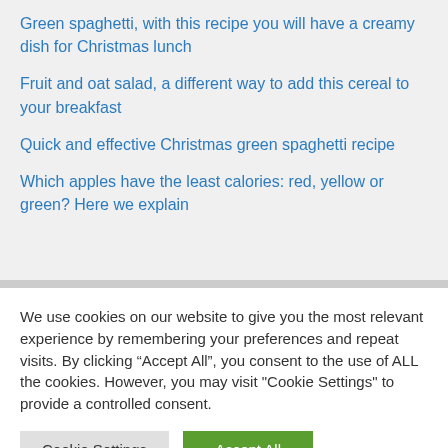Green spaghetti, with this recipe you will have a creamy dish for Christmas lunch
Fruit and oat salad, a different way to add this cereal to your breakfast
Quick and effective Christmas green spaghetti recipe
Which apples have the least calories: red, yellow or green? Here we explain
We use cookies on our website to give you the most relevant experience by remembering your preferences and repeat visits. By clicking “Accept All”, you consent to the use of ALL the cookies. However, you may visit "Cookie Settings" to provide a controlled consent.